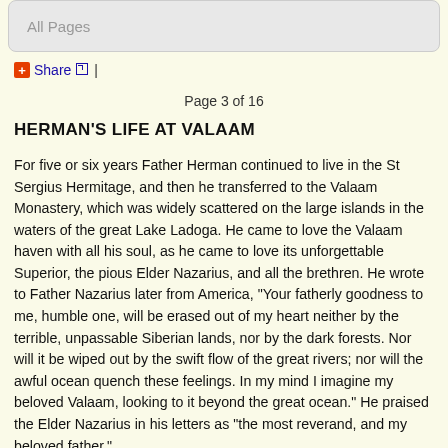All Pages
+ Share |
Page 3 of 16
HERMAN'S LIFE AT VALAAM
For five or six years Father Herman continued to live in the St Sergius Hermitage, and then he transferred to the Valaam Monastery, which was widely scattered on the large islands in the waters of the great Lake Ladoga. He came to love the Valaam haven with all his soul, as he came to love its unforgettable Superior, the pious Elder Nazarius, and all the brethren. He wrote to Father Nazarius later from America, "Your fatherly goodness to me, humble one, will be erased out of my heart neither by the terrible, unpassable Siberian lands, nor by the dark forests. Nor will it be wiped out by the swift flow of the great rivers; nor will the awful ocean quench these feelings. In my mind I imagine my beloved Valaam, looking to it beyond the great ocean." He praised the Elder Nazarius in his letters as "the most reverand, and my beloved father."